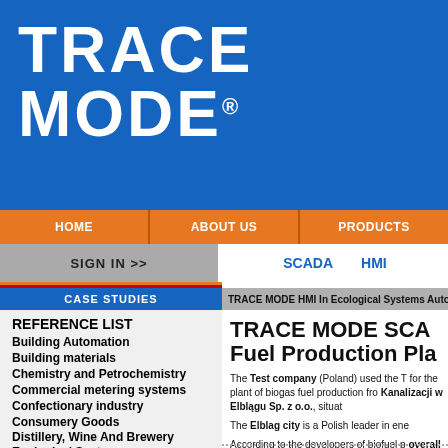[Figure (logo): TRACE MODE logo in white text on blue background]
HOME | ABOUT US | PRODUCTS
SIGN IN >>
SCADA   HMI
CASE STUDIES
TRACE MODE HMI In Ecological Systems Auto...
TRACE MODE SCA... Fuel Production Pla...
REFERENCE LIST
Building Automation
Building materials
Chemistry and Petrochemistry
Commercial metering systems
Confectionary industry
Consumery Goods
Distillery, Wine And Brewery
Ecological Systems
Education
Farming
Fat-and-oil industry
Ferrous Metallurgy
The Test company (Poland) used the T... for the plant of biogas fuel production fro... Kanalizacji w Elblągu Sp. z o.o., situat...
The Elblag city is a Polish leader in ene...
According to the developers of biofuel p... overall cost of the project in two-three...
The system monitors the following value...